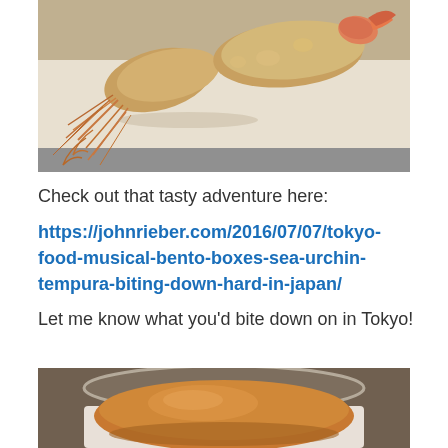[Figure (photo): Photo of shrimp tempura on a plate, showing crispy fried shrimp with tails and batter, on a white surface with a gray tray in the background.]
Check out that tasty adventure here:
https://johnrieber.com/2016/07/07/tokyo-food-musical-bento-boxes-sea-urchin-tempura-biting-down-hard-in-japan/
Let me know what you'd bite down on in Tokyo!
[Figure (photo): Photo of what appears to be a Japanese bun or pastry in a clear container, with a warm golden-brown color, placed on a surface.]